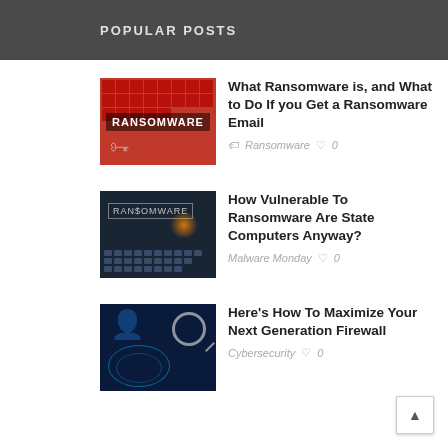POPULAR POSTS
[Figure (photo): Red grid background with RANSOMWARE text and keys]
What Ransomware is, and What to Do If you Get a Ransomware Email
Ransomware   ♡ 0
[Figure (photo): Dark keyboard with RANSOMWARE label and orange glow from finger pressing key]
How Vulnerable To Ransomware Are State Computers Anyway?
Malware Monday   ♡ 0
[Figure (photo): Person holding magnifying glass over glowing network globe]
Here's How To Maximize Your Next Generation Firewall
Cybersecurity   ♡ 0